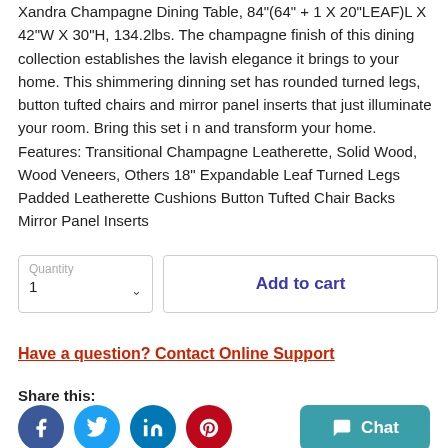Xandra Champagne Dining Table, 84"(64" + 1 X 20"LEAF)L X 42"W X 30"H, 134.2lbs. The champagne finish of this dining collection establishes the lavish elegance it brings to your home. This shimmering dinning set has rounded turned legs, button tufted chairs and mirror panel inserts that just illuminate your room. Bring this set i n and transform your home. Features: Transitional Champagne Leatherette, Solid Wood, Wood Veneers, Others 18" Expandable Leaf Turned Legs Padded Leatherette Cushions Button Tufted Chair Backs Mirror Panel Inserts
Quantity 1 | Add to cart
Have a question? Contact Online Support
Share this:
[Figure (infographic): Social media share icons: Facebook, Twitter, LinkedIn, Pinterest, and a teal Chat button]